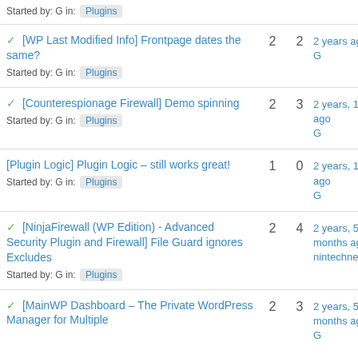Started by: G in: Plugins
✓ [WP Last Modified Info] Frontpage dates the same? Started by: G in: Plugins | 2 replies | 2 voices | 2 years ago G
✓ [Counterespionage Firewall] Demo spinning Started by: G in: Plugins | 2 replies | 3 voices | 2 years, 1 month ago G
[Plugin Logic] Plugin Logic – still works great! Started by: G in: Plugins | 1 reply | 0 voices | 2 years, 1 month ago G
✓ [NinjaFirewall (WP Edition) - Advanced Security Plugin and Firewall] File Guard ignores Excludes Started by: G in: Plugins | 2 replies | 4 voices | 2 years, 5 months ago nintechnet
✓ [MainWP Dashboard – The Private WordPress Manager for Multiple Websites] Maintenance Mo... Started by: G in: Plugins | 2 replies | 3 voices | 2 years, 5 months ago G